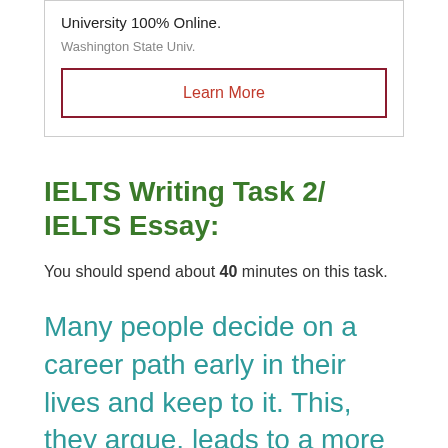University 100% Online.
Washington State Univ.
Learn More
IELTS Writing Task 2/ IELTS Essay:
You should spend about 40 minutes on this task.
Many people decide on a career path early in their lives and keep to it. This, they argue, leads to a more satisfying working life. To what extent do you agree with this view? What other things can people do in order to have a satisfying working life?